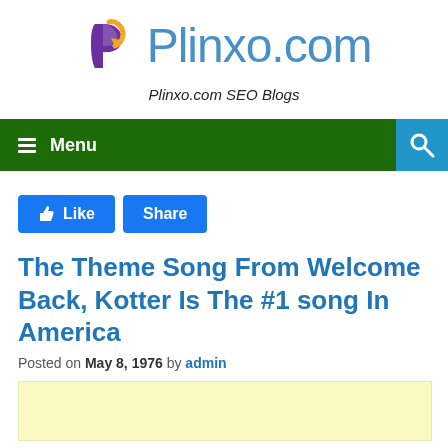Plinxo.com
Plinxo.com SEO Blogs
Menu
[Figure (other): Like and Share Facebook-style buttons]
The Theme Song From Welcome Back, Kotter Is The #1 song In America
Posted on May 8, 1976 by admin
[Figure (other): Advertisement block with pale yellow background]